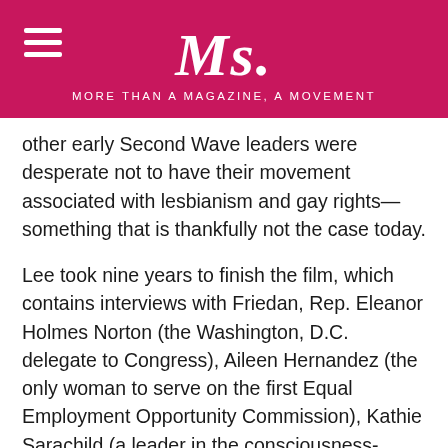Ms. MORE THAN A MAGAZINE, A MOVEMENT
other early Second Wave leaders were desperate not to have their movement associated with lesbianism and gay rights—something that is thankfully not the case today.
Lee took nine years to finish the film, which contains interviews with Friedan, Rep. Eleanor Holmes Norton (the Washington, D.C. delegate to Congress), Aileen Hernandez (the only woman to serve on the first Equal Employment Opportunity Commission), Kathie Sarachild (a leader in the consciousness-raising movement and Redstockings member), Frances M. Beal (cofounder of the Black Women's Liberation Committee of the Student Nonviolent Coordinating Committee) and more.